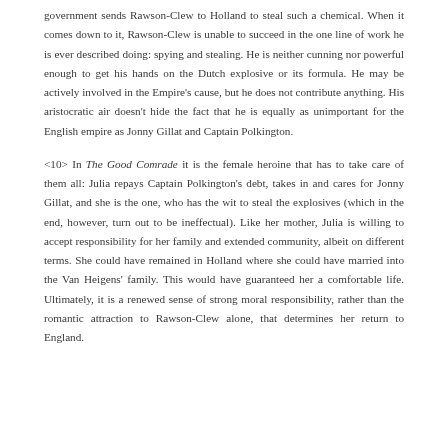government sends Rawson-Clew to Holland to steal such a chemical. When it comes down to it, Rawson-Clew is unable to succeed in the one line of work he is ever described doing: spying and stealing. He is neither cunning nor powerful enough to get his hands on the Dutch explosive or its formula. He may be actively involved in the Empire's cause, but he does not contribute anything. His aristocratic air doesn't hide the fact that he is equally as unimportant for the English empire as Jonny Gillat and Captain Polkington.
<10> In The Good Comrade it is the female heroine that has to take care of them all: Julia repays Captain Polkington's debt, takes in and cares for Jonny Gillat, and she is the one, who has the wit to steal the explosives (which in the end, however, turn out to be ineffectual). Like her mother, Julia is willing to accept responsibility for her family and extended community, albeit on different terms. She could have remained in Holland where she could have married into the Van Heigens' family. This would have guaranteed her a comfortable life. Ultimately, it is a renewed sense of strong moral responsibility, rather than the romantic attraction to Rawson-Clew alone, that determines her return to England.